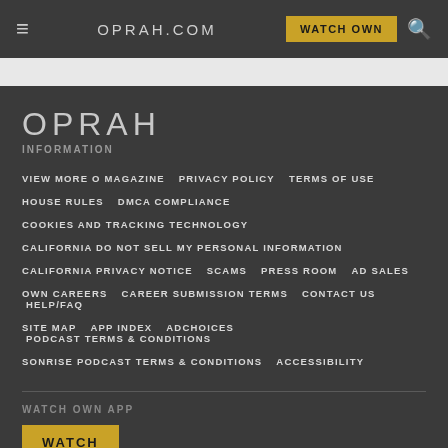OPRAH.COM  WATCH OWN
OPRAH
INFORMATION
VIEW MORE O MAGAZINE  PRIVACY POLICY  TERMS OF USE
HOUSE RULES  DMCA COMPLIANCE
COOKIES AND TRACKING TECHNOLOGY
CALIFORNIA DO NOT SELL MY PERSONAL INFORMATION
CALIFORNIA PRIVACY NOTICE  SCAMS  PRESS ROOM  AD SALES
OWN CAREERS  CAREER SUBMISSION TERMS  CONTACT US  HELP/FAQ
SITE MAP  APP INDEX  ADCHOICES  PODCAST TERMS & CONDITIONS
SONRISE PODCAST TERMS & CONDITIONS  ACCESSIBILITY
WATCH OWN APP